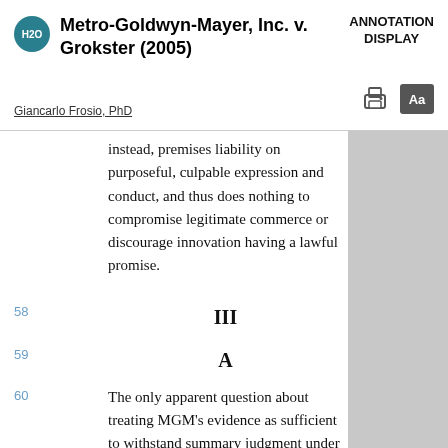Metro-Goldwyn-Mayer, Inc. v. Grokster (2005) — ANNOTATION DISPLAY
instead, premises liability on purposeful, culpable expression and conduct, and thus does nothing to compromise legitimate commerce or discourage innovation having a lawful promise.
III
A
The only apparent question about treating MGM's evidence as sufficient to withstand summary judgment under the theory of inducement goes to the need on MGM's part to adduce evidence that Strea...